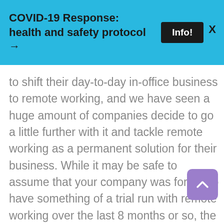COVID-19 Response: health and safety protocol →
to shift their day-to-day in-office business to remote working, and we have seen a huge amount of companies decide to go a little further with it and tackle remote working as a permanent solution for their business. While it may be safe to assume that your company was forced to have something of a trial run with remote working over the last 8 months or so, the question remains: Are you considering making this shift a permanent one for your own business? Everything we have learned in the last year of working remotely and from home, it has become clear that remote working can not only work for